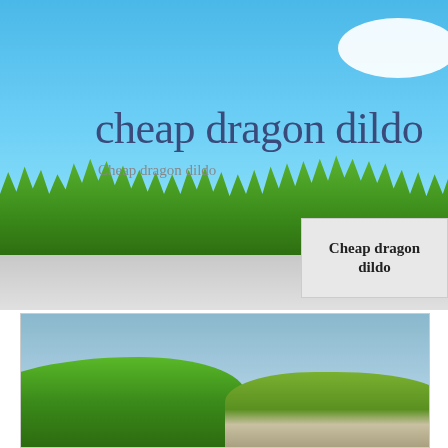[Figure (illustration): Blue sky background with white cloud in top-right corner and green grass strip along the bottom of the banner area]
cheap dragon dildo
Cheap dragon dildo
[Figure (illustration): Small thumbnail box with light gray background showing text 'Cheap dragon dildo']
Cheap dragon dildo
[Figure (photo): Landscape photo showing green rolling hills with rocky outcroppings under a blue sky with clouds]